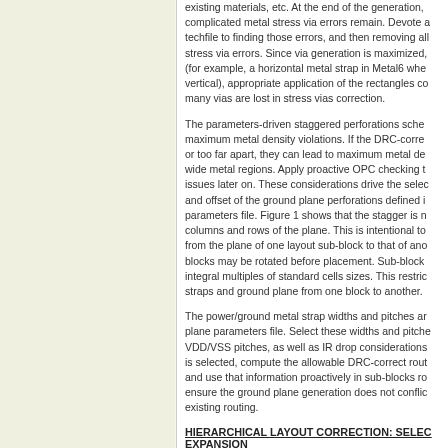existing materials, etc. At the end of the generation, complicated metal stress via errors remain. Devote a techfile to finding those errors, and then removing all stress via errors. Since via generation is maximized, (for example, a horizontal metal strap in Metal6 where vertical), appropriate application of the rectangles co many vias are lost in stress vias correction.
The parameters-driven staggered perforations scheme maximum metal density violations. If the DRC-correc or too far apart, they can lead to maximum metal de wide metal regions. Apply proactive OPC checking to issues later on. These considerations drive the selec and offset of the ground plane perforations defined i parameters file. Figure 1 shows that the stagger is n columns and rows of the plane. This is intentional to from the plane of one layout sub-block to that of ano blocks may be rotated before placement. Sub-block integral multiples of standard cells sizes. This restric straps and ground plane from one block to another.
The power/ground metal strap widths and pitches ar plane parameters file. Select these widths and pitche VDD/VSS pitches, as well as IR drop considerations is selected, compute the allowable DRC-correct rout and use that information proactively in sub-blocks ro ensure the ground plane generation does not conflic existing routing.
HIERARCHICAL LAYOUT CORRECTION: SELECT EXPANSION
The ground plane project is an example of intricate f correctness of construction applies only in the flat se often have to deal with hierarchical layout, such as c